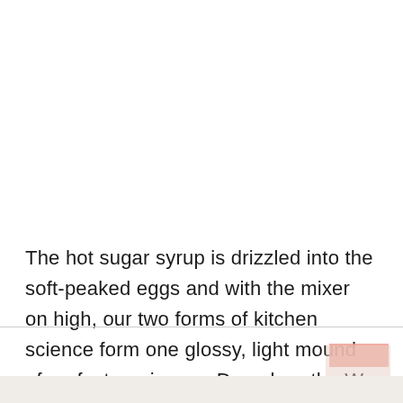The hot sugar syrup is drizzled into the soft-peaked eggs and with the mixer on high, our two forms of kitchen science form one glossy, light mound of perfect meringue.  Deep breath.  We are successful.